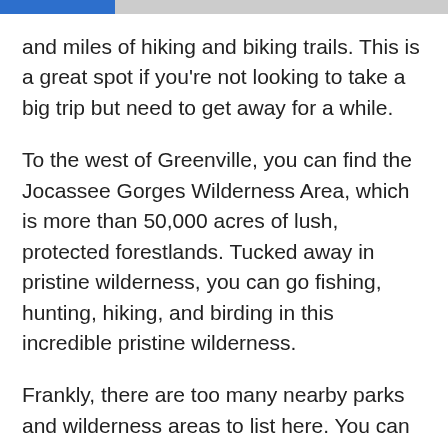and miles of hiking and biking trails. This is a great spot if you're not looking to take a big trip but need to get away for a while.
To the west of Greenville, you can find the Jocassee Gorges Wilderness Area, which is more than 50,000 acres of lush, protected forestlands. Tucked away in pristine wilderness, you can go fishing, hunting, hiking, and birding in this incredible pristine wilderness.
Frankly, there are too many nearby parks and wilderness areas to list here. You can rest assured that once you are living in Greenville, SC, you'll be able to book your weekends out to infinity by exploring new beautiful and natural areas of the south.
If you're relocating to Greenville, SC, you're only a short